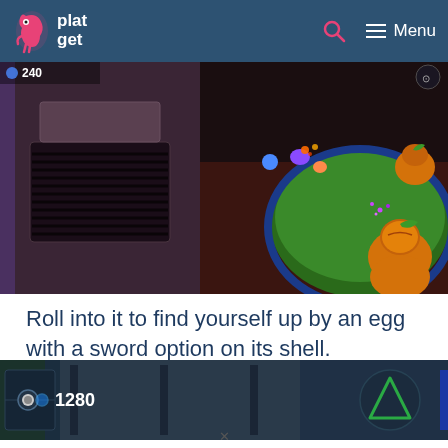plat get — Menu
[Figure (screenshot): Game screenshot showing a top-down view of a colorful game level with a large blue circular platform, an orange pumpkin character, green terrain, and other small game characters. A score of 240 is visible in the upper left corner.]
Roll into it to find yourself up by an egg with a sword option on its shell.
[Figure (screenshot): Game screenshot showing a dark corridor/hallway scene with a score of 1280 visible on the left and a triangle/delta symbol icon on the right.]